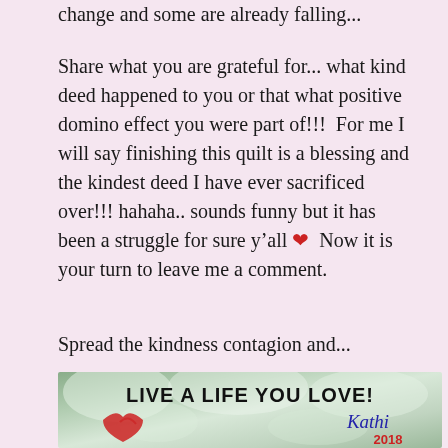change and some are already falling...
Share what you are grateful for... what kind deed happened to you or that what positive domino effect you were part of!!!  For me I will say finishing this quilt is a blessing and the kindest deed I have ever sacrificed over!!! hahaha.. sounds funny but it has been a struggle for sure y’all ❤  Now it is your turn to leave me a comment.
Spread the kindness contagion and...
[Figure (photo): Decorative image with cherry blossom trees background, text 'LIVE A LIFE YOU LOVE!' in bold black letters, a red heart swirl graphic on the left, and a cursive blue signature 'Kathi' with '2018' in red below on the right.]